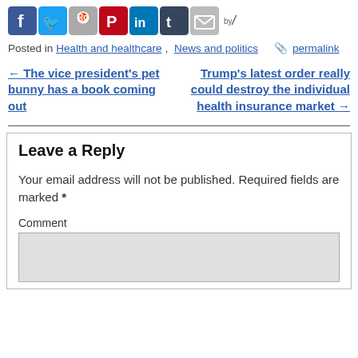[Figure (other): Social media share buttons: Facebook, Twitter, Reddit, Pinterest, LinkedIn, Tumblr, Email, with 'by' sharethis logo]
Posted in Health and healthcare, News and politics  🔗  permalink
← The vice president's pet bunny has a book coming out
Trump's latest order really could destroy the individual health insurance market →
Leave a Reply
Your email address will not be published. Required fields are marked *
Comment